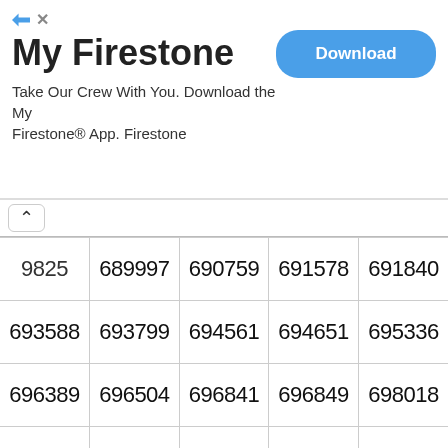[Figure (screenshot): Firestone app advertisement banner with title 'My Firestone', subtitle 'Take Our Crew With You. Download the My Firestone® App. Firestone', and a blue 'Download' button on the right. Navigation arrows at top right.]
| …9825 | 689997 | 690759 | 691578 | 691840 |
| 693588 | 693799 | 694561 | 694651 | 695336 |
| 696389 | 696504 | 696841 | 696849 | 698018 |
| 699504 | 700826 | 701250 | 703889 | 704253 |
| 707629 | 708127 | 708499 | 709447 | 711075 |
| 711606 | 712671 | 713385 | 714398 | 714750 |
| 718629 | 718707 | 718861 | 719024 | 719127 |